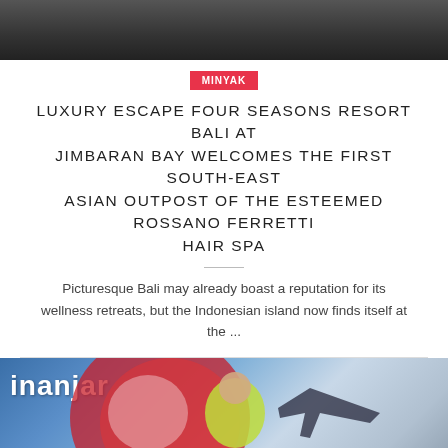[Figure (photo): Top portion of a photo showing a person, dark tones, cropped at the bottom of the frame]
MINYAK
LUXURY ESCAPE FOUR SEASONS RESORT BALI AT JIMBARAN BAY WELCOMES THE FIRST SOUTH-EAST ASIAN OUTPOST OF THE ESTEEMED ROSSANO FERRETTI HAIR SPA
Picturesque Bali may already boast a reputation for its wellness retreats, but the Indonesian island now finds itself at the ...
[Figure (photo): Bottom image showing people at an event with 'inanjar' text visible on a banner backdrop, a person in yellow-green jacket smiling in the center, red and white design elements in background]